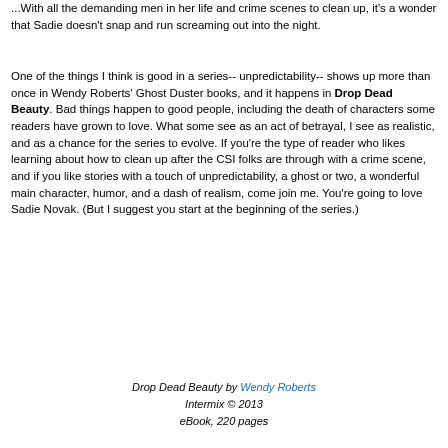...With all the demanding men in her life and crime scenes to clean up, it's a wonder that Sadie doesn't snap and run screaming out into the night.
One of the things I think is good in a series-- unpredictability-- shows up more than once in Wendy Roberts' Ghost Duster books, and it happens in Drop Dead Beauty. Bad things happen to good people, including the death of characters some readers have grown to love. What some see as an act of betrayal, I see as realistic, and as a chance for the series to evolve. If you're the type of reader who likes learning about how to clean up after the CSI folks are through with a crime scene, and if you like stories with a touch of unpredictability, a ghost or two, a wonderful main character, humor, and a dash of realism, come join me. You're going to love Sadie Novak. (But I suggest you start at the beginning of the series.)
Drop Dead Beauty by Wendy Roberts
Intermix © 2013
eBook, 220 pages